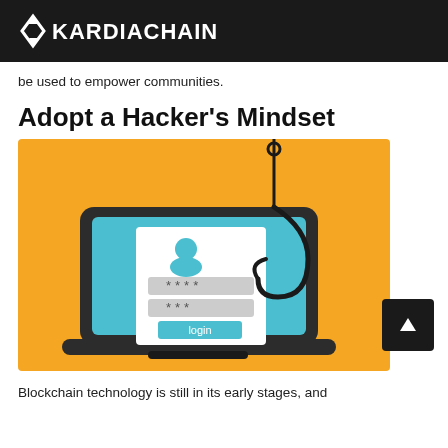KARDIACHAIN
be used to empower communities.
Adopt a Hacker's Mindset
[Figure (illustration): Illustration of a laptop with a login form showing username (person icon), two password fields with asterisks (****  ***), and a login button, being hooked by a large fishing hook on a yellow/orange background. A black scroll-to-top arrow button appears at bottom right.]
Blockchain technology is still in its early stages, and